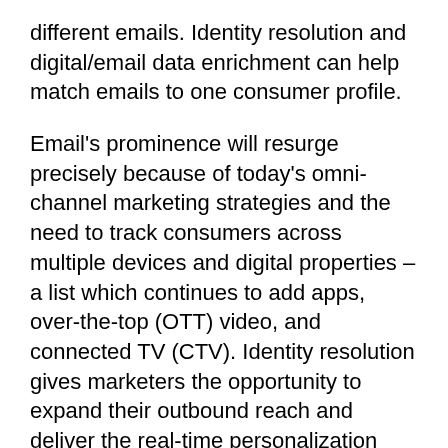different emails. Identity resolution and digital/email data enrichment can help match emails to one consumer profile.
Email's prominence will resurge precisely because of today's omni-channel marketing strategies and the need to track consumers across multiple devices and digital properties – a list which continues to add apps, over-the-top (OTT) video, and connected TV (CTV). Identity resolution gives marketers the opportunity to expand their outbound reach and deliver the real-time personalization that today's consumers value and expect.
Also, with privacy regulations on the